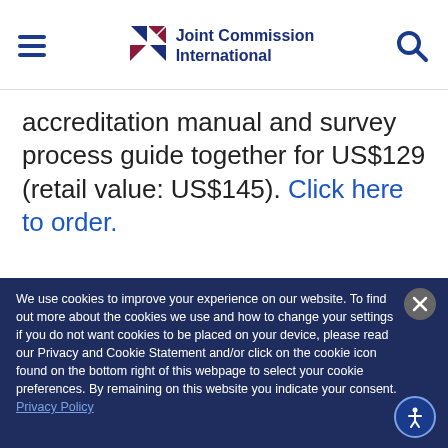[Figure (logo): Joint Commission International logo with red and navy geometric shapes and text]
accreditation manual and survey process guide together for US$129 (retail value: US$145). Click here to order.
We use cookies to improve your experience on our website. To find out more about the cookies we use and how to change your settings if you do not want cookies to be placed on your device, please read our Privacy and Cookie Statement and/or click on the cookie icon found on the bottom right of this webpage to select your cookie preferences. By remaining on this website you indicate your consent. Privacy Policy